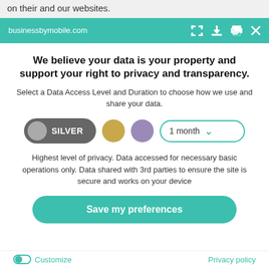on their and our websites.
businessbymobile.com
We believe your data is your property and support your right to privacy and transparency.
Select a Data Access Level and Duration to choose how we use and share your data.
[Figure (infographic): Privacy level selector showing SILVER toggle (dark gray), gold dot, purple dot buttons, and a '1 month' dropdown selector]
Highest level of privacy. Data accessed for necessary basic operations only. Data shared with 3rd parties to ensure the site is secure and works on your device
Save my preferences
Customize
Privacy policy